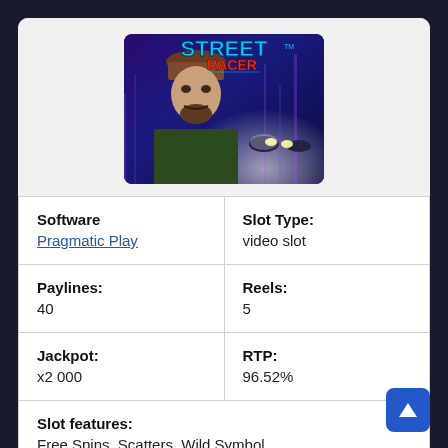[Figure (screenshot): Street Racer slot game promotional image showing a tough-looking man in a knit hat with a car and neon city background, with the Street Racer logo.]
| Software
Pragmatic Play | Slot Type:
video slot |
| Paylines:
40 | Reels:
5 |
| Jackpot:
x2 000 | RTP:
96.52% |
| Slot features:
Free Spins, Scatters, Wild Symbol |  |